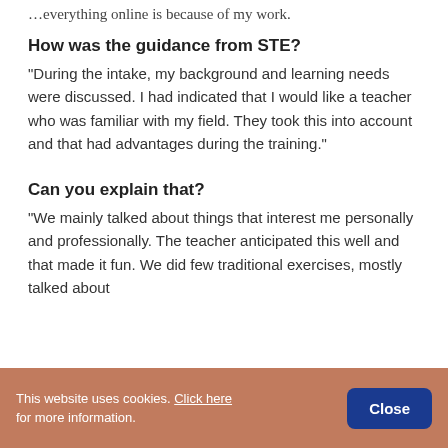…everything online is because of my work.
How was the guidance from STE?
"During the intake, my background and learning needs were discussed. I had indicated that I would like a teacher who was familiar with my field. They took this into account and that had advantages during the training."
Can you explain that?
"We mainly talked about things that interest me personally and professionally. The teacher anticipated this well and that made it fun. We did few traditional exercises, mostly talked about
This website uses cookies. Click here for more information. Close